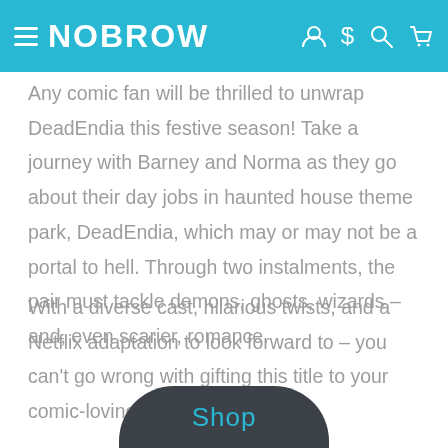NOBROW
Any comic fan will be thrilled to unwrap DeadEndia this festive season! Take a journey with Barney and Norma as they go about their day jobs in haunted house theme park, DeadEndia, which may or may not be a portal to hell. Through two instalments, the pair must tackle demons, ghosts, wizards – and, even scarier, romance.
With a diverse cast, hilarious twists, and a Netflix adaptation to look forward to – you can't go wrong with gifting this title to your comic-loving friends!
[Figure (other): Shop button — dark rounded pill-shaped button with teal 'Shop' text, cropped at bottom of page]